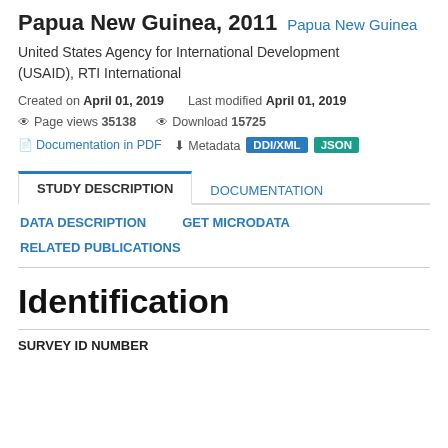Papua New Guinea, 2011  Papua New Guinea
United States Agency for International Development (USAID), RTI International
Created on April 01, 2019    Last modified April 01, 2019
Page views 35138   Download 15725
Documentation in PDF   Metadata  DDI/XML  JSON
STUDY DESCRIPTION   DOCUMENTATION
DATA DESCRIPTION   GET MICRODATA
RELATED PUBLICATIONS
Identification
SURVEY ID NUMBER